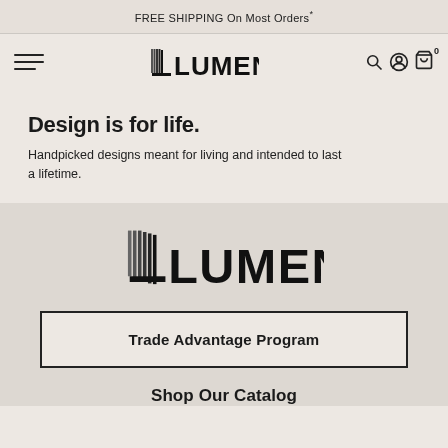FREE SHIPPING On Most Orders*
[Figure (logo): Lumens logo in navigation bar with hamburger menu and icons]
Design is for life.
Handpicked designs meant for living and intended to last a lifetime.
[Figure (logo): Large Lumens logo in lower section]
Trade Advantage Program
Shop Our Catalog